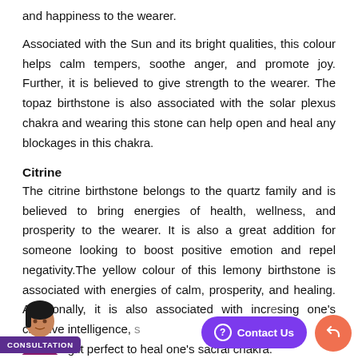and happiness to the wearer.
Associated with the Sun and its bright qualities, this colour helps calm tempers, soothe anger, and promote joy. Further, it is believed to give strength to the wearer. The topaz birthstone is also associated with the solar plexus chakra and wearing this stone can help open and heal any blockages in this chakra.
Citrine
The citrine birthstone belongs to the quartz family and is believed to bring energies of health, wellness, and prosperity to the wearer. It is also a great addition for someone looking to boost positive emotion and repel negativity.The yellow colour of this lemony birthstone is associated with energies of calm, prosperity, and healing. Additionally, it is also associated with increasing one's creative intelligence, and making it perfect to heal one's sacral chakra.